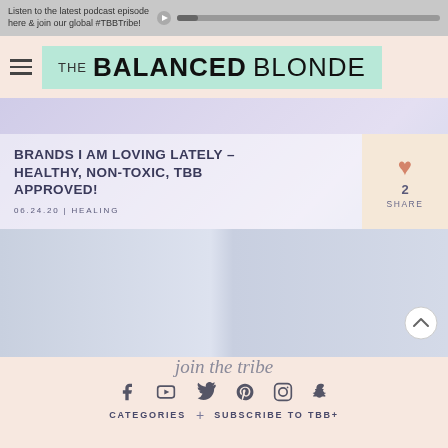Listen to the latest podcast episode here & join our global #TBBTribe!
THE BALANCED BLONDE
BRANDS I AM LOVING LATELY – HEALTHY, NON-TOXIC, TBB APPROVED!
06.24.20 | HEALING
2 SHARE
[Figure (photo): Featured blog post image showing fabric or bedding in light blue/grey tones]
join the tribe
CATEGORIES + SUBSCRIBE TO TBB+